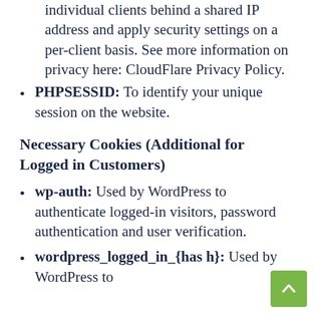individual clients behind a shared IP address and apply security settings on a per-client basis. See more information on privacy here: CloudFlare Privacy Policy.
PHPSESSID: To identify your unique session on the website.
Necessary Cookies (Additional for Logged in Customers)
wp-auth: Used by WordPress to authenticate logged-in visitors, password authentication and user verification.
wordpress_logged_in_{hash}: Used by WordPress to